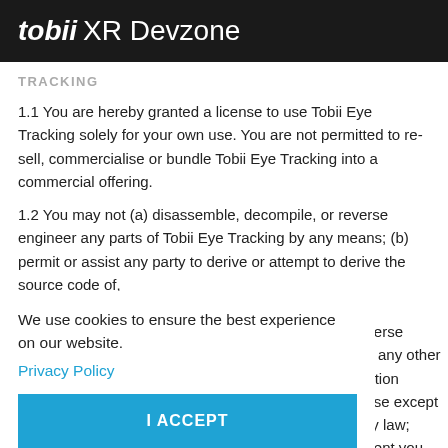tobii XR Devzone
TRACKING
1.1 You are hereby granted a license to use Tobii Eye Tracking solely for your own use. You are not permitted to re-sell, commercialise or bundle Tobii Eye Tracking into a commercial offering.
1.2 You may not (a) disassemble, decompile, or reverse engineer any parts of Tobii Eye Tracking by any means; (b) permit or assist any party to derive or attempt to derive the source code of,
We use cookies to ensure the best experience on our website.
Privacy Policy
I ACCEPT